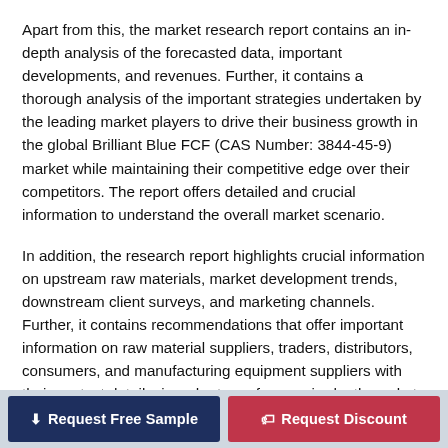Apart from this, the market research report contains an in-depth analysis of the forecasted data, important developments, and revenues. Further, it contains a thorough analysis of the important strategies undertaken by the leading market players to drive their business growth in the global Brilliant Blue FCF (CAS Number: 3844-45-9) market while maintaining their competitive edge over their competitors. The report offers detailed and crucial information to understand the overall market scenario.
In addition, the research report highlights crucial information on upstream raw materials, market development trends, downstream client surveys, and marketing channels. Further, it contains recommendations that offer important information on raw material suppliers, traders, distributors, consumers, and manufacturing equipment suppliers with their contact details, in order to perform an in-depth market chain analysis for the global Brilliant Blue FCF (CAS